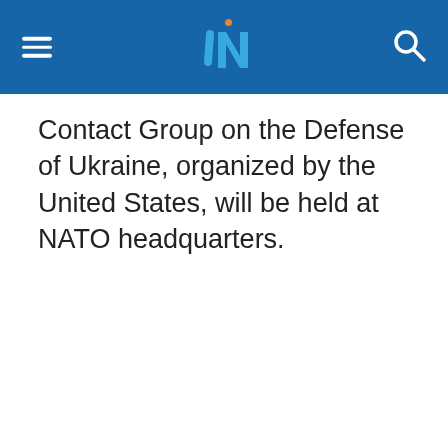UN logo header navigation bar
Contact Group on the Defense of Ukraine, organized by the United States, will be held at NATO headquarters.